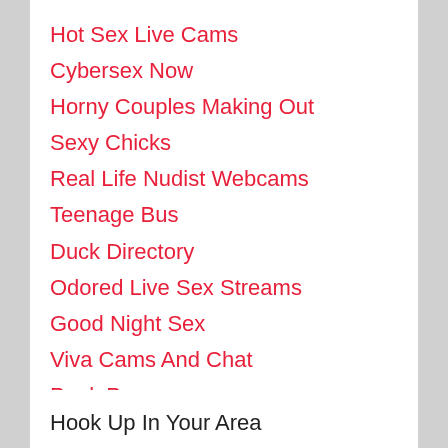Hot Sex Live Cams
Cybersex Now
Horny Couples Making Out
Sexy Chicks
Real Life Nudist Webcams
Teenage Bus
Duck Directory
Odored Live Sex Streams
Good Night Sex
Viva Cams And Chat
Peak Porn
New Pages Here>>
Hook Up In Your Area